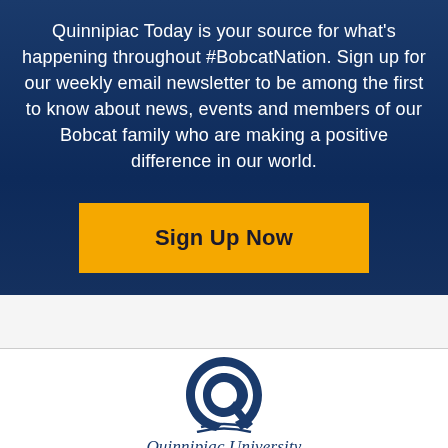Quinnipiac Today is your source for what's happening throughout #BobcatNation. Sign up for our weekly email newsletter to be among the first to know about news, events and members of our Bobcat family who are making a positive difference in our world.
Sign Up Now
[Figure (logo): Quinnipiac University Q logo in navy blue with decorative swash lines beneath]
Quinnipiac University